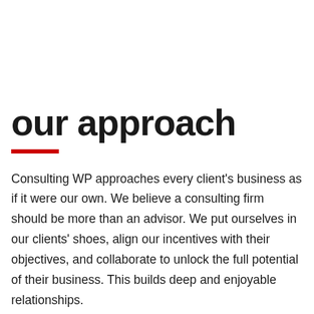our approach
Consulting WP approaches every client's business as if it were our own. We believe a consulting firm should be more than an advisor. We put ourselves in our clients' shoes, align our incentives with their objectives, and collaborate to unlock the full potential of their business. This builds deep and enjoyable relationships.
The right approach is necessary for the right outcome. Consulting WP approaches work by applying its external